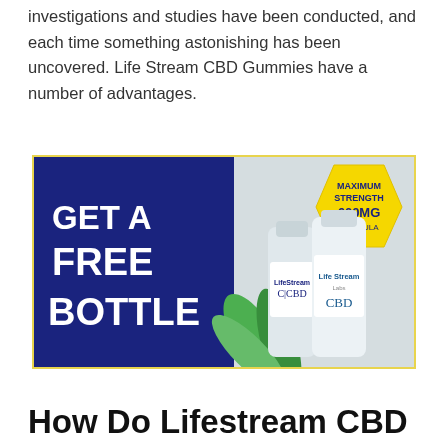investigations and studies have been conducted, and each time something astonishing has been uncovered. Life Stream CBD Gummies have a number of advantages.
[Figure (illustration): Advertisement banner for Life Stream CBD product showing 'GET A FREE BOTTLE' text on navy background and CBD supplement bottles labeled '600MG Maximum Strength Formula' with a yellow shield badge and green hemp leaves, bordered in yellow.]
How Do Lifestream CBD